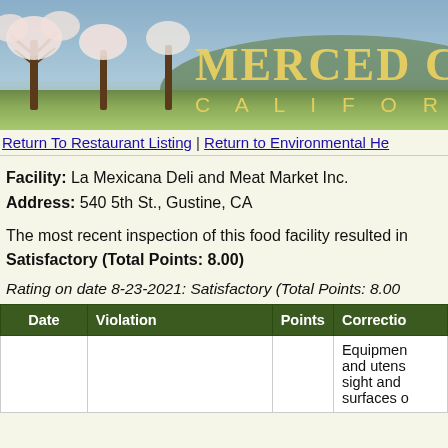[Figure (photo): Merced County California banner with flowering trees and rolling hills landscape, with gold text 'Merced Cou' and 'Californ' visible]
Return To Restaurant Listing | Return to Environmental He
Facility: La Mexicana Deli and Meat Market Inc.
Address: 540 5th St., Gustine, CA
The most recent inspection of this food facility resulted in a rating of Satisfactory (Total Points: 8.00)
Rating on date 8-23-2021: Satisfactory (Total Points: 8.00)
| Date | Violation | Points | Correctio |
| --- | --- | --- | --- |
|  |  |  | Equipmen and utens sight and surfaces o |